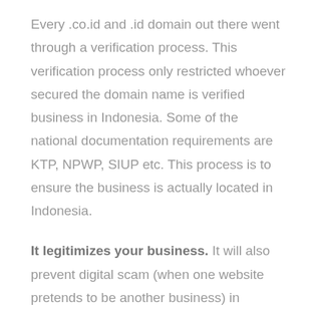Every .co.id and .id domain out there went through a verification process. This verification process only restricted whoever secured the domain name is verified business in Indonesia. Some of the national documentation requirements are KTP, NPWP, SIUP etc. This process is to ensure the business is actually located in Indonesia.
It legitimizes your business. It will also prevent digital scam (when one website pretends to be another business) in Indonesia, which we think add values to these .co.id or .id domains.
Okay, so which One should I Use